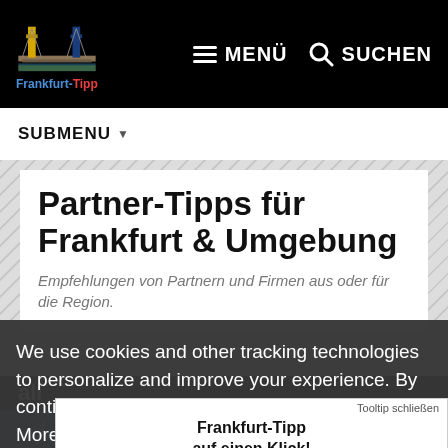Frankfurt-Tipp | MENÜ | SUCHEN
SUBMENU
Partner-Tipps für Frankfurt & Umgebung
Empfehlungen von Partnern und Firmen aus oder für die Region.
We use cookies and other tracking technologies to personalize and improve your experience. By continuing to use our website you consent to this. More info
Tooltip schließen
Frankfurt-Tipp auf einen Klick!
Einfach auf das Symbol tippen und zum Home-Bildschirm hinzufügen.
all
Facebook | Twitter | WhatsApp | WhatsApp | Share